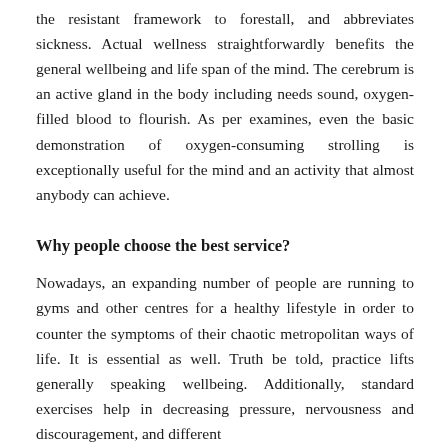the resistant framework to forestall, and abbreviates sickness. Actual wellness straightforwardly benefits the general wellbeing and life span of the mind. The cerebrum is an active gland in the body including needs sound, oxygen-filled blood to flourish. As per examines, even the basic demonstration of oxygen-consuming strolling is exceptionally useful for the mind and an activity that almost anybody can achieve.
Why people choose the best service?
Nowadays, an expanding number of people are running to gyms and other centres for a healthy lifestyle in order to counter the symptoms of their chaotic metropolitan ways of life. It is essential as well. Truth be told, practice lifts generally speaking wellbeing. Additionally, standard exercises help in decreasing pressure, nervousness and discouragement, and different